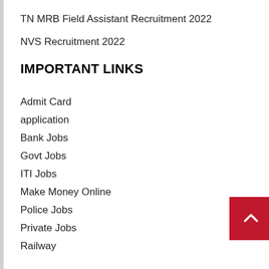TN MRB Field Assistant Recruitment 2022
NVS Recruitment 2022
IMPORTANT LINKS
Admit Card
application
Bank Jobs
Govt Jobs
ITI Jobs
Make Money Online
Police Jobs
Private Jobs
Railway